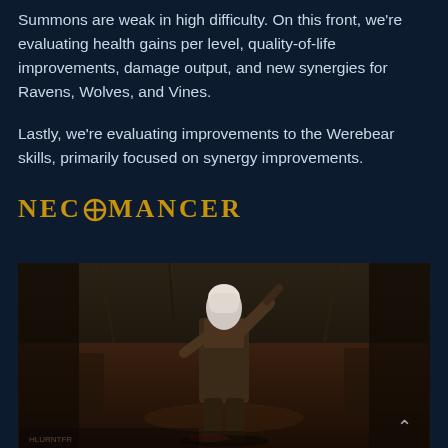Summons are weak in high difficulty. On this front, we're evaluating health gains per level, quality-of-life improvements, damage output, and new synergies for Ravens, Wolves, and Vines.

Lastly, we're evaluating improvements to the Werebear skills, primarily focused on synergy improvements.
NECROMANCER
[Figure (screenshot): A Necromancer character from a dark fantasy game, standing in a dimly lit dungeon environment. The character has white hair and wears dark armor. The scene is rendered in dark browns and blues.]